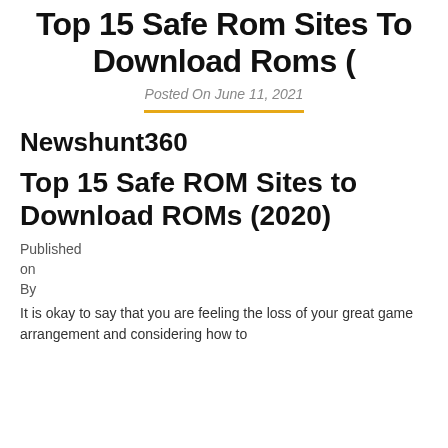Top 15 Safe Rom Sites To Download Roms (
Posted On June 11, 2021
Newshunt360
Top 15 Safe ROM Sites to Download ROMs (2020)
Published
on
By
It is okay to say that you are feeling the loss of your great game arrangement and considering how to